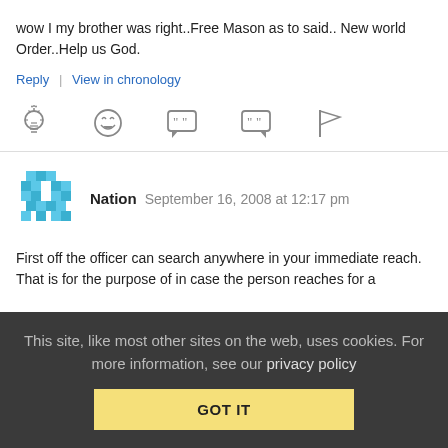wow I my brother was right..Free Mason as to said.. New world Order..Help us God.
Reply | View in chronology
[Figure (infographic): Row of 5 reaction/action icons: lightbulb, laughing face, quote bubble, quote bubble 2, flag]
[Figure (illustration): Blue pixel/mosaic avatar icon for user 'Nation']
Nation   September 16, 2008 at 12:17 pm
First off the officer can search anywhere in your immediate reach. That is for the purpose of in case the person reaches for a
This site, like most other sites on the web, uses cookies. For more information, see our privacy policy
GOT IT